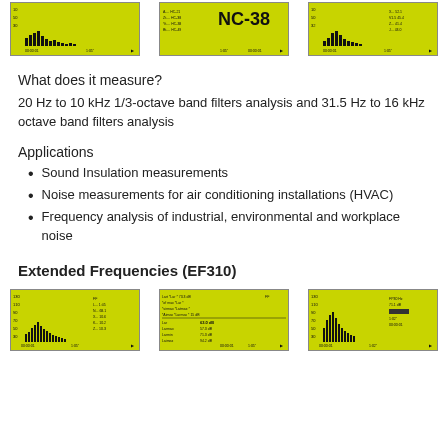[Figure (screenshot): Three yellow-green device screen screenshots showing frequency analysis bar charts and NC-38 measurement display]
What does it measure?
20 Hz to 10 kHz 1/3-octave band filters analysis and 31.5 Hz to 16 kHz octave band filters analysis
Applications
Sound Insulation measurements
Noise measurements for air conditioning installations (HVAC)
Frequency analysis of industrial, environmental and workplace noise
Extended Frequencies (EF310)
[Figure (screenshot): Three yellow-green device screen screenshots showing extended frequency analysis bar charts and measurement data]